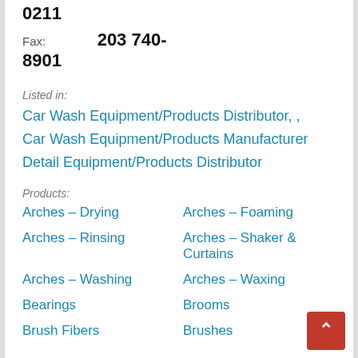0211
Fax: 203 740-8901
Listed in:
Car Wash Equipment/Products Distributor, ,
Car Wash Equipment/Products Manufacturer
Detail Equipment/Products Distributor
Products:
Arches – Drying
Arches – Foaming
Arches – Rinsing
Arches – Shaker & Curtains
Arches – Washing
Arches – Waxing
Bearings
Brooms
Brush Fibers
Brushes